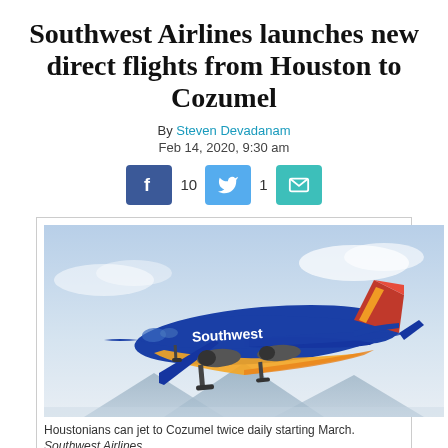Southwest Airlines launches new direct flights from Houston to Cozumel
By Steven Devadanam
Feb 14, 2020, 9:30 am
[Figure (infographic): Social share buttons: Facebook (10), Twitter (1), Email]
[Figure (photo): Southwest Airlines blue Boeing 737 aircraft taking off, with mountains in the background]
Houstonians can jet to Cozumel twice daily starting March. Southwest Airlines